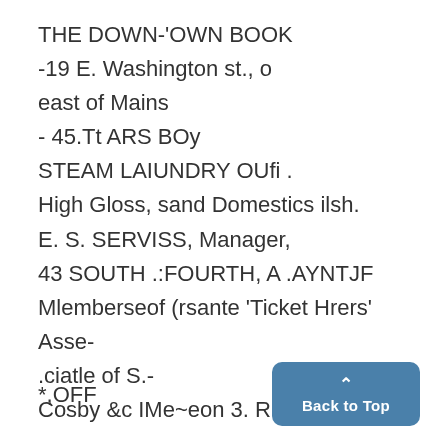THE DOWN-'OWN BOOK
-19 E. Washington st., o
east of Mains
- 45.Tt ARS BOy
STEAM LAIUNDRY OUfi .
High Gloss, sand Domestics ilsh.
E. S. SERVISS, Manager,
43 SOUTH .:FOURTH, A .AYNTJF
Mlemberseof (rsante 'Ticket Hrers' Asse-
.ciatle of S.-
Cosby &c IMe~eon 3. R.Ticrket Agsne
*,OFF
Back to Top